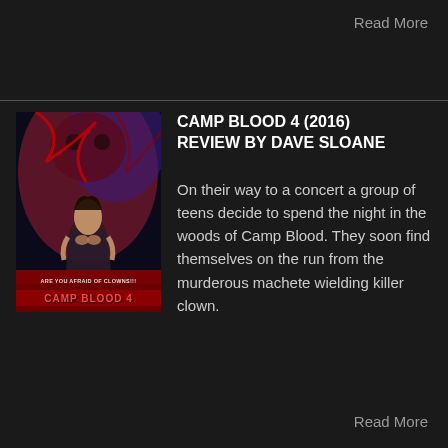Read More
[Figure (illustration): Movie poster for Camp Blood 4 featuring a woman in dark clothing against a red and blue horror background, with text 'ARE YOU AFRAID OF CLOWNS!!!' and 'CAMP BLOOD 4']
CAMP BLOOD 4 (2016) REVIEW BY DAVE SLOANE
On their way to a concert a group of teens decide to spend the night in the woods of Camp Blood. They soon find themselves on the run from the murderous machete wielding killer clown.
Read More